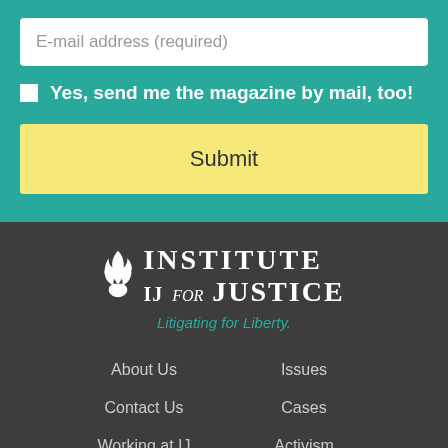E-mail address (required)
Yes, send me the magazine by mail, too!
Submit
[Figure (logo): Institute for Justice logo with flame icon and text 'IJ Institute for Justice']
Litigating for Liberty.
About Us
Issues
Contact Us
Cases
Working at IJ
Activism
Job Openings
Research